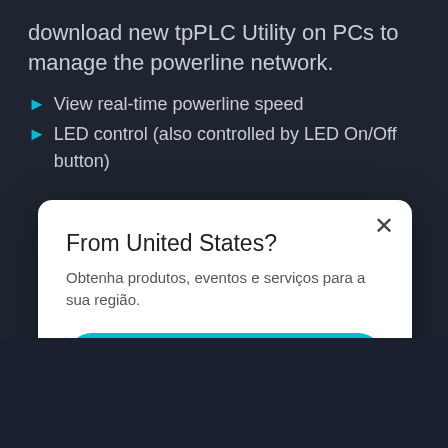download new tpPLC Utility on PCs to manage the powerline network.
View real-time powerline speed
LED control (also controlled by LED On/Off button)
[Figure (screenshot): Modal dialog overlay on a dark background website. Modal contains title 'From United States?', description text in Portuguese, a teal 'Procurar' button and an outlined 'Outras Opções' button, with a close X button in the top right corner.]
From United States?
Obtenha produtos, eventos e serviços para a sua região.
Procurar
Outras Opções